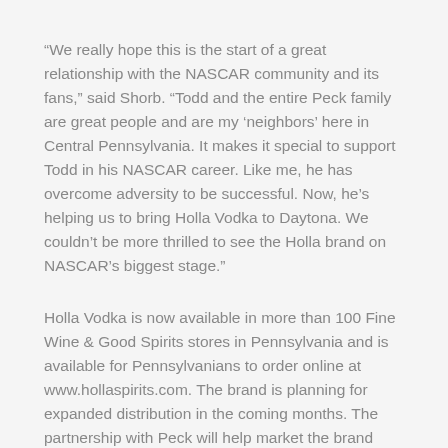“We really hope this is the start of a great relationship with the NASCAR community and its fans,” said Shorb. “Todd and the entire Peck family are great people and are my ‘neighbors’ here in Central Pennsylvania. It makes it special to support Todd in his NASCAR career. Like me, he has overcome adversity to be successful. Now, he’s helping us to bring Holla Vodka to Daytona. We couldn’t be more thrilled to see the Holla brand on NASCAR’s biggest stage.”
Holla Vodka is now available in more than 100 Fine Wine & Good Spirits stores in Pennsylvania and is available for Pennsylvanians to order online at www.hollaspirits.com. The brand is planning for expanded distribution in the coming months. The partnership with Peck will help market the brand nationally.